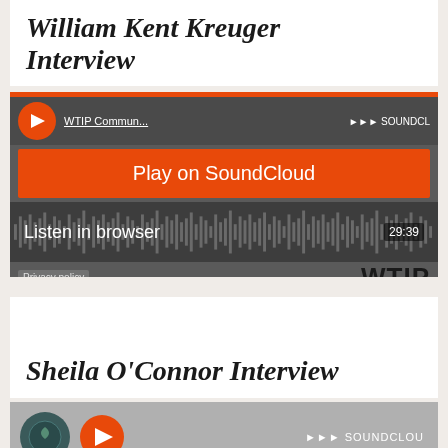William Kent Kreuger Interview
[Figure (screenshot): SoundCloud embedded player for William Kent Kreuger Interview on WTIP Community Radio, showing orange Play on SoundCloud button and Listen in browser option with 29:39 duration, WTIP logo visible]
Sheila O'Connor Interview
[Figure (screenshot): SoundCloud embedded player for Sheila O'Connor Interview showing orange Play on SoundCloud button, album artwork and play button visible]